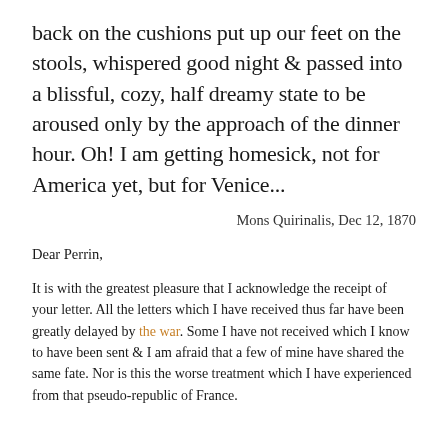back on the cushions put up our feet on the stools, whispered good night & passed into a blissful, cozy, half dreamy state to be aroused only by the approach of the dinner hour. Oh! I am getting homesick, not for America yet, but for Venice...
Mons Quirinalis, Dec 12, 1870
Dear Perrin,
It is with the greatest pleasure that I acknowledge the receipt of your letter. All the letters which I have received thus far have been greatly delayed by the war. Some I have not received which I know to have been sent & I am afraid that a few of mine have shared the same fate. Nor is this the worse treatment which I have experienced from that pseudo-republic of France.